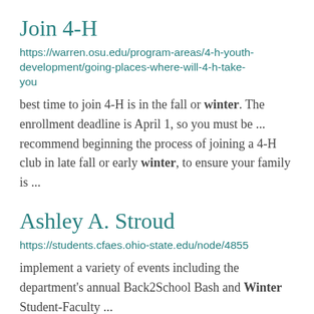Join 4-H
https://warren.osu.edu/program-areas/4-h-youth-development/going-places-where-will-4-h-take-you
best time to join 4-H is in the fall or winter. The enrollment deadline is April 1, so you must be ... recommend beginning the process of joining a 4-H club in late fall or early winter, to ensure your family is ...
Ashley A. Stroud
https://students.cfaes.ohio-state.edu/node/4855
implement a variety of events including the department's annual Back2School Bash and Winter Student-Faculty ...